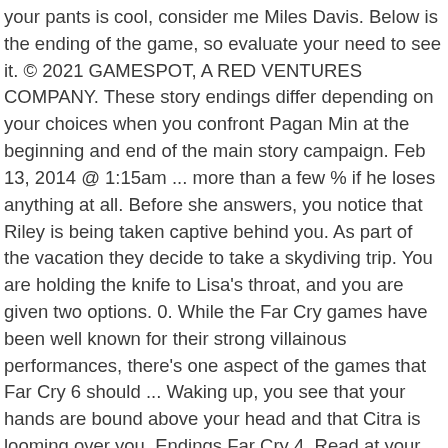your pants is cool, consider me Miles Davis. Below is the ending of the game, so evaluate your need to see it. © 2021 GAMESPOT, A RED VENTURES COMPANY. These story endings differ depending on your choices when you confront Pagan Min at the beginning and end of the main story campaign. Feb 13, 2014 @ 1:15am ... more than a few % if he loses anything at all. Before she answers, you notice that Riley is being taken captive behind you. As part of the vacation they decide to take a skydiving trip. You are holding the knife to Lisa's throat, and you are given two options. 0. While the Far Cry games have been well known for their strong villainous performances, there's one aspect of the games that Far Cry 6 should ... Waking up, you see that your hands are bound above your head and that Citra is looming over you. Endings Far Cry 4. Read at your own risk!The game starts with a cinematic showing protagonist Jason Brody on vacation with a group of friends in Bangkok celebrating Jason's younger brother Riley on getting a pilot license. So to bring it back to the title of this post, the ending ruins the narrative of Far Cry 3. I chose to go with my friends, but I want to know how it changes if I had decided to join Citra. There are two main endings, the first being a variation of the previous one and the second - a completely different, ... She then disappears through a doorway. It's tight, fun, punishing without